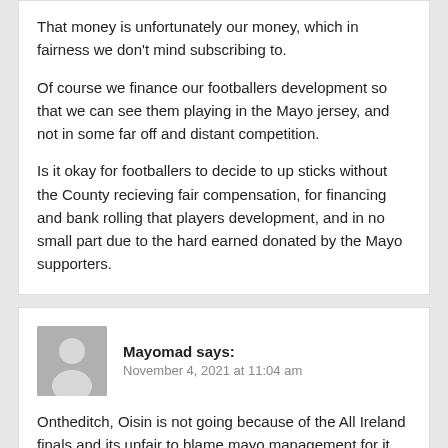That money is unfortunately our money, which in fairness we don't mind subscribing to.

Of course we finance our footballers development so that we can see them playing in the Mayo jersey, and not in some far off and distant competition.

Is it okay for footballers to decide to up sticks without the County recieving fair compensation, for financing and bank rolling that players development, and in no small part due to the hard earned donated by the Mayo supporters.
Mayomad says:
November 4, 2021 at 11:04 am
Ontheditch, Oisin is not going because of the All Ireland finals and its unfair to blame mayo management for it. While its disappointing he is going, this has been on the cards for the past two years, he would have gone long before those finals but to give him some time...